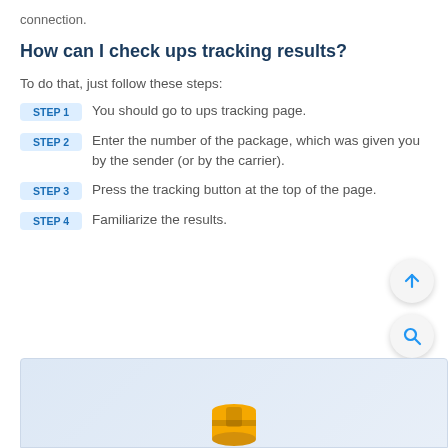connection.
How can I check ups tracking results?
To do that, just follow these steps:
STEP 1   You should go to ups tracking page.
STEP 2   Enter the number of the package, which was given you by the sender (or by the carrier).
STEP 3   Press the tracking button at the top of the page.
STEP 4   Familiarize the results.
[Figure (illustration): Partial view of a UPS tracking page screenshot with a golden UPS logo/icon visible at the bottom]